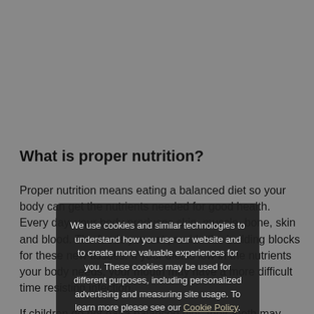What is proper nutrition?
Proper nutrition means eating a balanced diet so your body can get the nutrients needed for good health. Every day, your body produces skin, muscle, and bone. The foods you eat provide the building blocks for these new tissues. If your diet is low in the nutrients your body needs, your mouth may have a more difficult time resisting infection.
We use cookies and similar technologies to understand how you use our website and to create more valuable experiences for you. These cookies may be used for different purposes, including personalized advertising and measuring site usage. To learn more please see our Cookie Policy. You can change your preferences at any time through our Cookie preferences tool.
Accept
If children do not eat a balanced diet, their teeth may